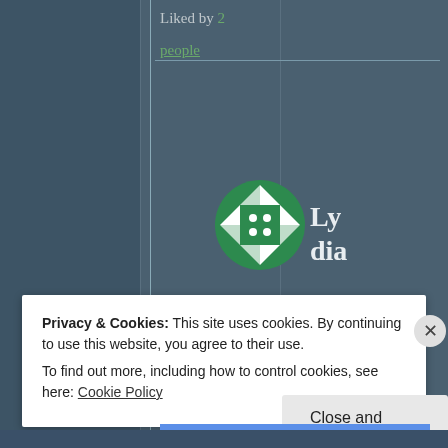Liked by 2
people
[Figure (logo): Green and white circular geometric/quilt pattern avatar for user Lydia Rose]
Lydia Rose 2019‑06‑05 at 3:0
Privacy & Cookies: This site uses cookies. By continuing to use this website, you agree to their use. To find out more, including how to control cookies, see here: Cookie Policy
Close and accept